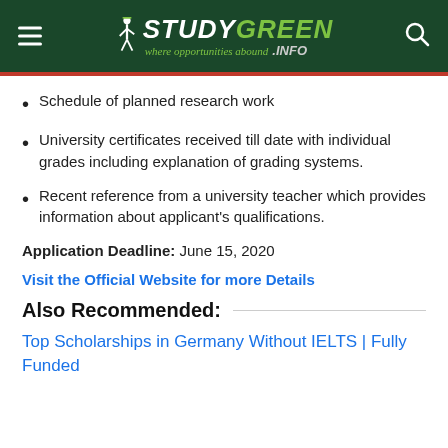StudyGreen.info — where opportunities abound
Schedule of planned research work
University certificates received till date with individual grades including explanation of grading systems.
Recent reference from a university teacher which provides information about applicant's qualifications.
Application Deadline: June 15, 2020
Visit the Official Website for more Details
Also Recommended:
Top Scholarships in Germany Without IELTS | Fully Funded